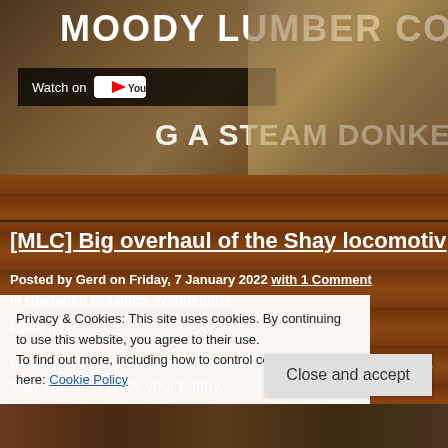[Figure (screenshot): YouTube video thumbnail for Moody Lumber Co. showing 'Building a Steam Donkey' with Watch on YouTube badge overlay]
[MLC] Big overhaul of the Shay locomotiv...
Posted by Gerd on Friday, 7 January 2022 with 1 Comment in Operation Sessions, Workreports
Hello folks,
welcome in 2022 and I wish you all the best and more importa... Stay safe and enjoy your hobby.
In the next weeks and month, I spend a huge overhaul to my S...
Privacy & Cookies: This site uses cookies. By continuing to use this website, you agree to their use.
To find out more, including how to control cookies, see here: Cookie Policy
Close and accept